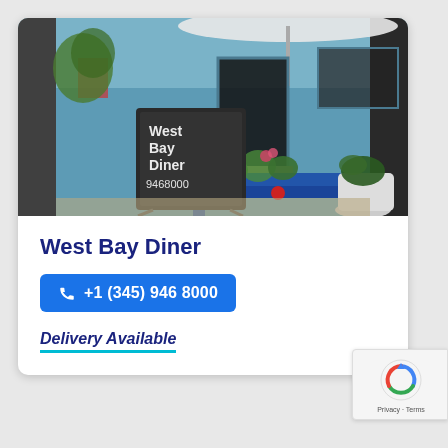[Figure (photo): Exterior photo of West Bay Diner — a small blue building with an open door, a chalkboard sign reading 'West Bay Diner 9468000', blue planter boxes with succulents and flowers, and a white pot with a plant. A white umbrella is visible in the background.]
West Bay Diner
+1 (345) 946 8000
Delivery Available
[Figure (logo): Google reCAPTCHA badge with spinning arrows logo and 'Privacy - Terms' text]